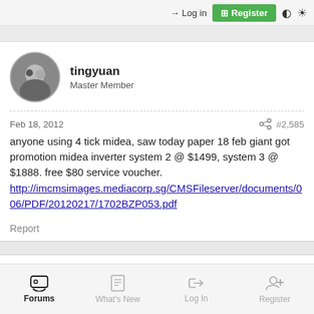Log in  Register
tingyuan
Master Member
Feb 18, 2012  #2,585
anyone using 4 tick midea, saw today paper 18 feb giant got promotion midea inverter system 2 @ $1499, system 3 @ $1888. free $80 service voucher.
http://imcmsimages.mediacorp.sg/CMSFileserver/documents/006/PDF/20120217/1702BZP053.pdf
Report
Forums  What's New  Log In  Register